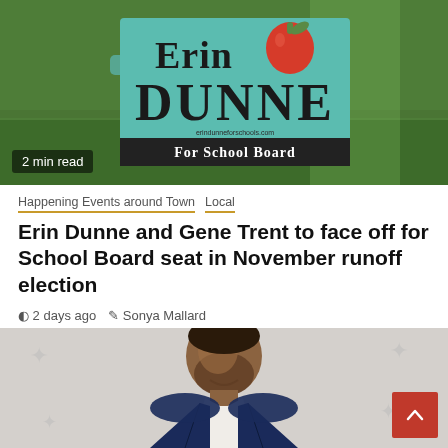[Figure (photo): Person holding an Erin Dunne for School Board campaign sign against a green grass background. The sign features teal background with red apple graphic.]
2 min read
Happening Events around Town  Local
Erin Dunne and Gene Trent to face off for School Board seat in November runoff election
2 days ago   Sonya Mallard
[Figure (photo): Man in a dark navy suit with a light blue and patterned tie, bearded, smiling, standing in front of a light floral-patterned backdrop.]